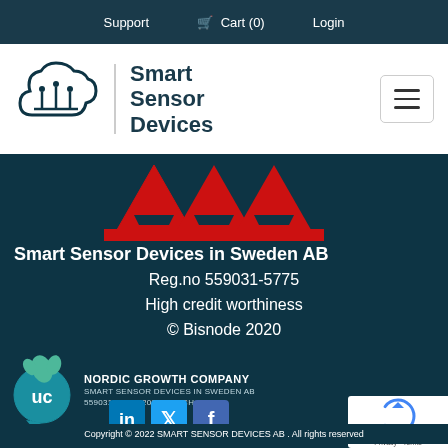Support   🛒 Cart (0)   Login
[Figure (logo): Smart Sensor Devices cloud logo with circuit board motif, teal/dark blue color, with text 'Smart Sensor Devices' beside it and hamburger menu button]
[Figure (logo): AAA credit rating logo — large red block letters AAA on dark teal background]
Smart Sensor Devices in Sweden AB
Reg.no 559031-5775
High credit worthiness
© Bisnode 2020
[Figure (logo): UC Nordic Growth Company badge — teal circular UC logo with plant/leaf, text: NORDIC GROWTH COMPANY / SMART SENSOR DEVICES IN SWEDEN AB / 559031-5775 | 2020 MARCH]
[Figure (logo): Social media icons: LinkedIn (blue), Twitter (blue), Facebook (blue)]
Copyright © 2022 SMART SENSOR DEVICES AB . All rights reserved